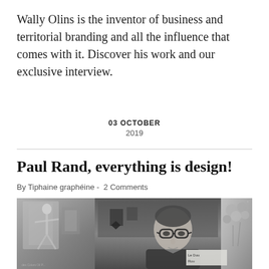Wally Olins is the inventor of business and territorial branding and all the influence that comes with it. Discover his work and our exclusive interview.
03 OCTOBER
2019
Paul Rand, everything is design!
By Tiphaine graphéine -  2 Comments
[Figure (photo): Black and white photograph of an elderly man wearing glasses, seated in front of various artworks and design posters in his studio. A label reading 'Le Dou Rou' is visible in the lower right of the image.]